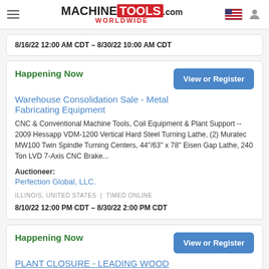MachineTools.com Worldwide
8/16/22 12:00 AM CDT – 8/30/22 10:00 AM CDT
Happening Now
Warehouse Consolidation Sale - Metal Fabricating Equipment
CNC & Conventional Machine Tools, Coil Equipment & Plant Support -- 2009 Hessapp VDM-1200 Vertical Hard Steel Turning Lathe, (2) Muratec MW100 Twin Spindle Turning Centers, 44"/63" x 78" Eisen Gap Lathe, 240 Ton LVD 7-Axis CNC Brake...
Auctioneer:
Perfection Global, LLC.
ILLINOIS, UNITED STATES | TIMED ONLINE
8/10/22 12:00 PM CDT – 8/30/22 2:00 PM CDT
Happening Now
PLANT CLOSURE - LEADING WOOD